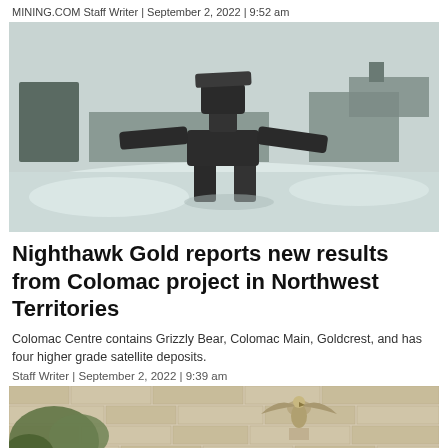MINING.COM Staff Writer | September 2, 2022 | 9:52 am
[Figure (photo): An inukshuk stone sculpture in a snowy northern landscape with a frozen lake and industrial structures in the background]
Nighthawk Gold reports new results from Colomac project in Northwest Territories
Colomac Centre contains Grizzly Bear, Colomac Main, Goldcrest, and has four higher grade satellite deposits.
Staff Writer | September 2, 2022 | 9:39 am
[Figure (photo): Partial view of a building facade with decorative eagle sculpture and surrounding foliage]